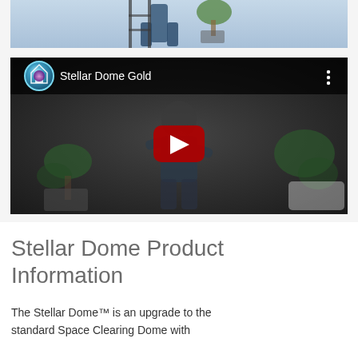[Figure (photo): Partial photo of a person standing near a ladder and plants against a light blue/white background — cropped at top of page]
[Figure (screenshot): YouTube video thumbnail showing a man standing in a room with plants. Video title reads 'Stellar Dome Gold' with a channel logo (house icon with blue/teal circular design). Large red play button in center.]
Stellar Dome Product Information
The Stellar Dome™ is an upgrade to the standard Space Clearing Dome with